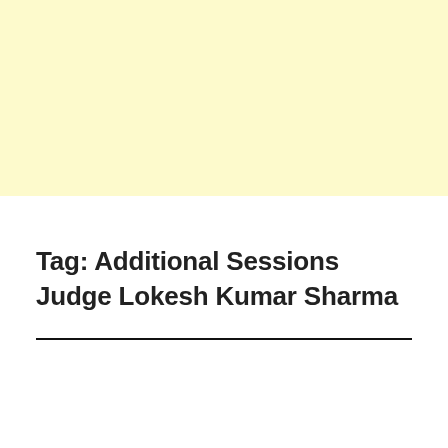[Figure (other): Light yellow background block occupying the top portion of the page]
Tag: Additional Sessions Judge Lokesh Kumar Sharma